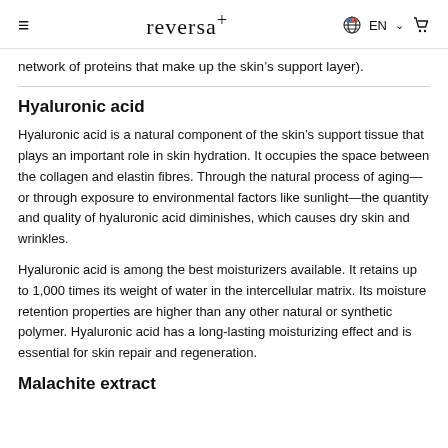reversa+  EN  [cart]
network of proteins that make up the skin’s support layer).
Hyaluronic acid
Hyaluronic acid is a natural component of the skin’s support tissue that plays an important role in skin hydration. It occupies the space between the collagen and elastin fibres. Through the natural process of aging—or through exposure to environmental factors like sunlight—the quantity and quality of hyaluronic acid diminishes, which causes dry skin and wrinkles.
Hyaluronic acid is among the best moisturizers available. It retains up to 1,000 times its weight of water in the intercellular matrix. Its moisture retention properties are higher than any other natural or synthetic polymer. Hyaluronic acid has a long-lasting moisturizing effect and is essential for skin repair and regeneration.
Malachite extract